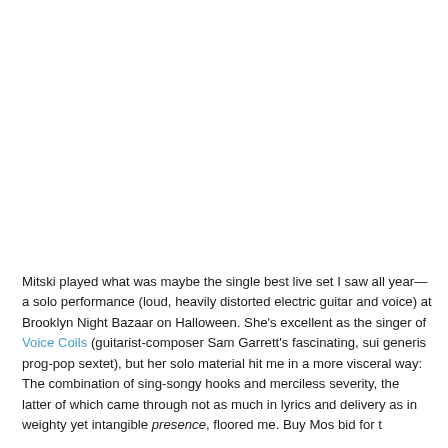Mitski played what was maybe the single best live set I saw all year—a solo performance (loud, heavily distorted electric guitar and voice) at Brooklyn Night Bazaar on Halloween. She's excellent as the singer of Voice Coils (guitarist-composer Sam Garrett's fascinating, sui generis prog-pop sextet), but her solo material hit me in a more visceral way: The combination of sing-songy hooks and merciless severity, the latter of which came through not as much in lyrics and delivery as in weighty yet intangible presence, floored me. Buy Mos bid for t...